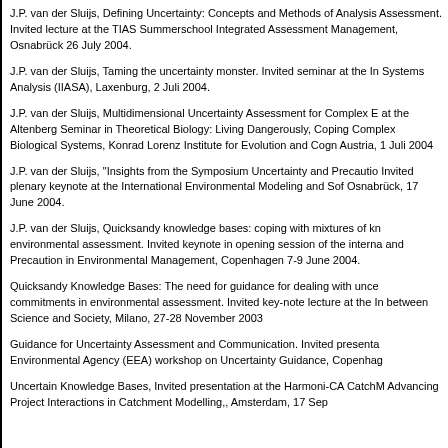J.P. van der Sluijs, Defining Uncertainty: Concepts and Methods of Analysis Assessment. Invited lecture at the TIAS Summerschool Integrated Assessment Management, Osnabrück 26 July 2004.
J.P. van der Sluijs, Taming the uncertainty monster. Invited seminar at the International Institute for Applied Systems Analysis (IIASA), Laxenburg, 2 Juli 2004.
J.P. van der Sluijs, Multidimensional Uncertainty Assessment for Complex Environmental Problems. Invited lecture at the Altenberg Seminar in Theoretical Biology: Living Dangerously, Coping with Uncertainty in Complex Biological Systems, Konrad Lorenz Institute for Evolution and Cognition Research, Altenberg, Austria, 1 Juli 2004
J.P. van der Sluijs, "Insights from the Symposium Uncertainty and Precaution in Environmental Management". Invited plenary keynote at the International Environmental Modeling and Software Society (iEMSs), Osnabrück, 17 June 2004.
J.P. van der Sluijs, Quicksandy knowledge bases: coping with mixtures of knowledge and ignorance in environmental assessment. Invited keynote in opening session of the international symposium Uncertainty and Precaution in Environmental Management, Copenhagen 7-9 June 2004.
Quicksandy Knowledge Bases: The need for guidance for dealing with uncertainty, value commitments in environmental assessment. Invited key-note lecture at the Interface between Science and Society, Milano, 27-28 November 2003
Guidance for Uncertainty Assessment and Communication. Invited presentation at the European Environmental Agency (EEA) workshop on Uncertainty Guidance, Copenhagen
Uncertain Knowledge Bases, Invited presentation at the Harmoni-CA CatchMod Workshop on Advancing Project Interactions in Catchment Modelling,, Amsterdam, 17 Sep